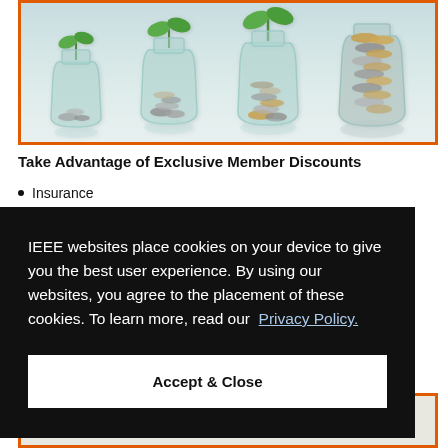[Figure (photo): Four glass jars progressively filled with coins, with small green plant seedlings growing from the coins, representing savings growth. Each jar has more coins than the previous.]
Take Advantage of Exclusive Member Discounts
Insurance
IEEE websites place cookies on your device to give you the best user experience. By using our websites, you agree to the placement of these cookies. To learn more, read our Privacy Policy.
Accept & Close
[Figure (screenshot): Partial view of text reading ENVIRONMENTAL CONTROL DEVICES at the bottom of the page, with an orange border frame.]